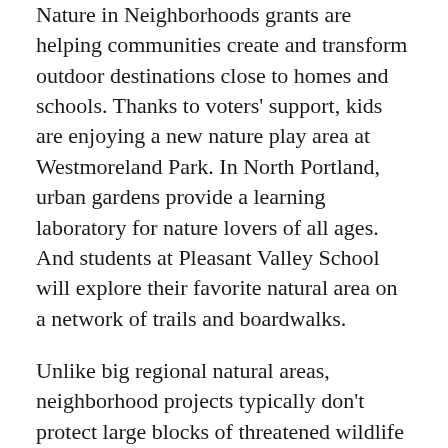Nature in Neighborhoods grants are helping communities create and transform outdoor destinations close to homes and schools. Thanks to voters' support, kids are enjoying a new nature play area at Westmoreland Park. In North Portland, urban gardens provide a learning laboratory for nature lovers of all ages. And students at Pleasant Valley School will explore their favorite natural area on a network of trails and boardwalks.
Unlike big regional natural areas, neighborhood projects typically don't protect large blocks of threatened wildlife habitat. But, by preserving the nature down the street, they forge a connection between people and the natural world.
Cully Park, $577,000: Once a closed and gated former landfill, Cully Park is being transformed with walking trails, play and picnic areas and a native gathering garden. The nonprofit Verde is taking the lead in the transformation, engaging diverse community groups